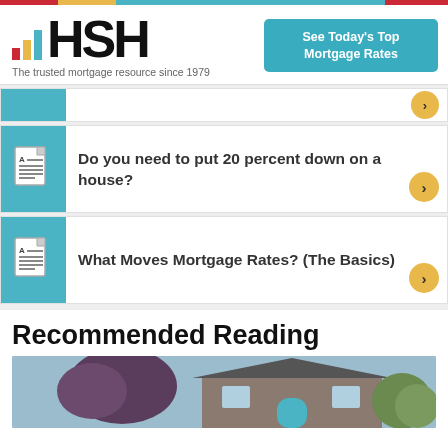[Figure (logo): HSH logo with colored bar chart icon and tagline 'The trusted mortgage resource since 1979']
See Today's Top Mortgage Rates
Do you need to put 20 percent down on a house?
What Moves Mortgage Rates? (The Basics)
Recommended Reading
[Figure (photo): Photo of a house exterior with trees]